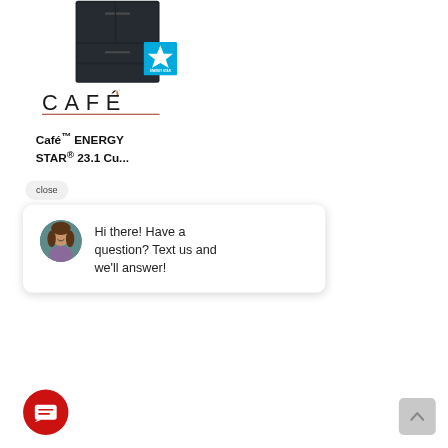[Figure (photo): Dark matte French door refrigerator with Energy Star badge in top right corner]
[Figure (logo): Café appliances brand logo with stylized accent mark and copper/red underline]
Café™ ENERGY STAR® 23.1 Cu...
close
Hi there! Have a question? Text us and we'll answer!
[Figure (illustration): Red circular chat button with message lines icon, and gray back-to-top arrow button]